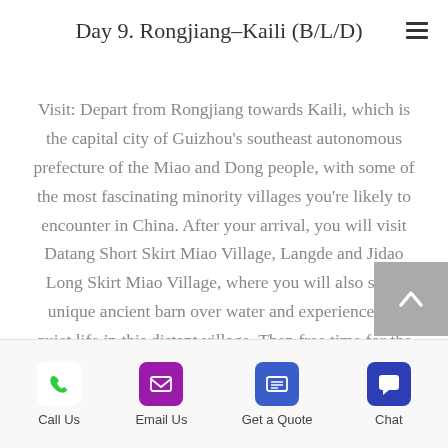Day 9. Rongjiang–Kaili (B/L/D)
Visit: Depart from Rongjiang towards Kaili, which is the capital city of Guizhou's southeast autonomous prefecture of the Miao and Dong people, with some of the most fascinating minority villages you're likely to encounter in China. After your arrival, you will visit Datang Short Skirt Miao Village, Langde and Jidao Long Skirt Miao Village, where you will also see a unique ancient barn over water and experience the quiet life in this distant village. Then free time for the rest of the day.
Call Us | Email Us | Get a Quote | Chat